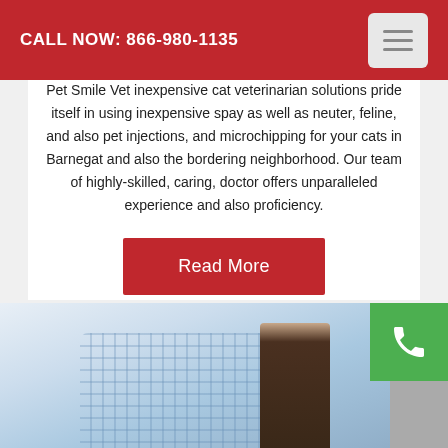CALL NOW: 866-980-1135
Pet Smile Vet inexpensive cat veterinarian solutions pride itself in using inexpensive spay as well as neuter, feline, and also pet injections, and microchipping for your cats in Barnegat and also the bordering neighborhood. Our team of highly-skilled, caring, doctor offers unparalleled experience and also proficiency.
[Figure (other): Red 'Read More' button]
[Figure (photo): Photo of a person wearing a light blue plaid shirt with a woman visible to the right, with a green phone call button overlay]